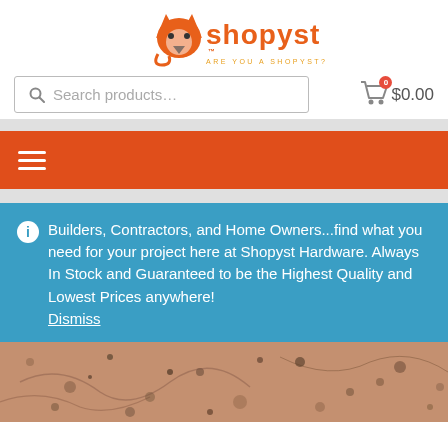[Figure (logo): Shopyst logo with orange fox icon and text 'shopyst' in orange with tagline 'ARE YOU A SHOPYST?' below]
Search products…
0 $0.00
[Figure (other): Orange navigation bar with hamburger menu icon (three white horizontal lines)]
Builders, Contractors, and Home Owners...find what you need for your project here at Shopyst Hardware. Always In Stock and Guaranteed to be the Highest Quality and Lowest Prices anywhere! Dismiss
[Figure (photo): Close-up photo of granite or stone tile surface with brown, pink, and dark speckled texture]